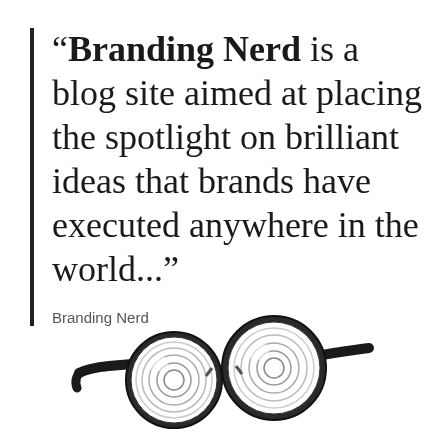“Branding Nerd is a blog site aimed at placing the spotlight on brilliant ideas that brands have executed anywhere in the world...”
Branding Nerd
[Figure (photo): A pair of thick-lensed nerd glasses with black frames, viewed from a slight angle, with highly curved concentric lens rings suggesting very strong prescription lenses.]